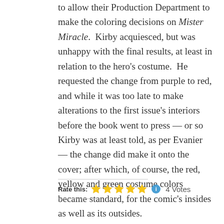to allow their Production Department to make the coloring decisions on Mister Miracle. Kirby acquiesced, but was unhappy with the final results, at least in relation to the hero's costume. He requested the change from purple to red, and while it was too late to make alterations to the first issue's interiors before the book went to press — or so Kirby was at least told, as per Evanier — the change did make it onto the cover; after which, of course, the red, yellow and green costume colors became standard, for the comic's insides as well as its outsides.
Rate this: ★★★★★ ℹ 4 Votes